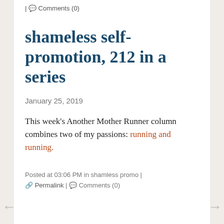| Comments (0)
shameless self-promotion, 212 in a series
January 25, 2019
This week's Another Mother Runner column combines two of my passions: running and running.
Posted at 03:06 PM in shamless promo | Permalink | Comments (0)